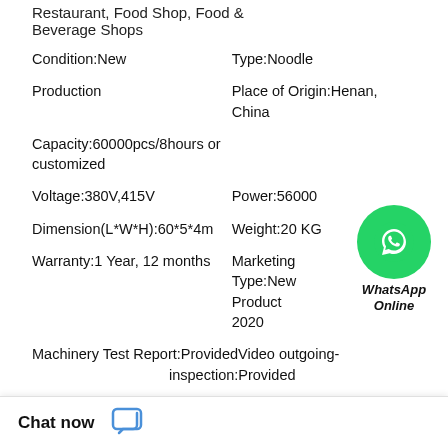Restaurant, Food Shop, Food &
Beverage Shops
Condition:New	Type:Noodle
Production	Place of Origin:Henan, China
Capacity:60000pcs/8hours or customized
Voltage:380V,415V	Power:56000
Dimension(L*W*H):60*5*4m	Weight:20 KG
Warranty:1 Year, 12 months	Marketing Type:New Product 2020
Machinery Test Report:ProvidedVideo outgoing-inspection:Provided
Warranty of core components:1 Year	Core Components:Motor
[Figure (logo): WhatsApp Online green circle icon with phone handset, labeled WhatsApp Online in bold italic]
ales Service
d:Engineers available to
Chat now